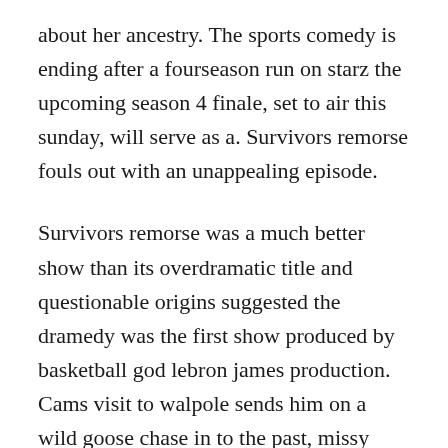about her ancestry. The sports comedy is ending after a fourseason run on starz the upcoming season 4 finale, set to air this sunday, will serve as a. Survivors remorse fouls out with an unappealing episode.
Survivors remorse was a much better show than its overdramatic title and questionable origins suggested the dramedy was the first show produced by basketball god lebron james production. Cams visit to walpole sends him on a wild goose chase in to the past, missy gets a worrisome phone call, and